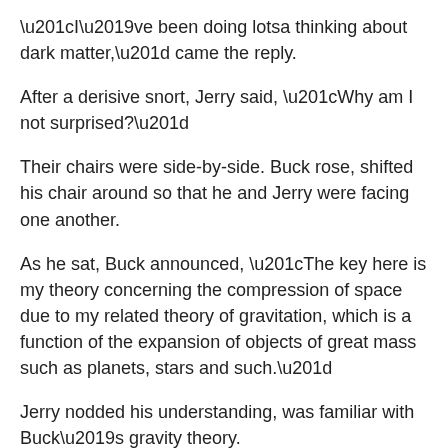“I’ve been doing lotsa thinking about dark matter,” came the reply.
After a derisive snort, Jerry said, “Why am I not surprised?”
Their chairs were side-by-side. Buck rose, shifted his chair around so that he and Jerry were facing one another.
As he sat, Buck announced, “The key here is my theory concerning the compression of space due to my related theory of gravitation, which is a function of the expansion of objects of great mass such as planets, stars and such.”
Jerry nodded his understanding, was familiar with Buck’s gravity theory.
Buck elaborated. “Dark matter is simply compressed space around objects of incredibly high mass. Galaxies are the prime example of this. It’s one reason galaxies don’t spin themselves apart. The compressed space surrounding galaxies helps gravity hold the stars together. In a matter of speaking, they’re fenced in.”